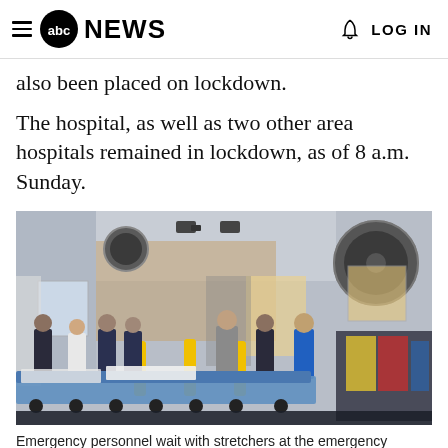abc NEWS   LOG IN
also been placed on lockdown.
The hospital, as well as two other area hospitals remained in lockdown, as of 8 a.m. Sunday.
[Figure (photo): Emergency personnel and police officers standing in a hospital emergency bay with stretchers and medical equipment in the foreground.]
Emergency personnel wait with stretchers at the emergency